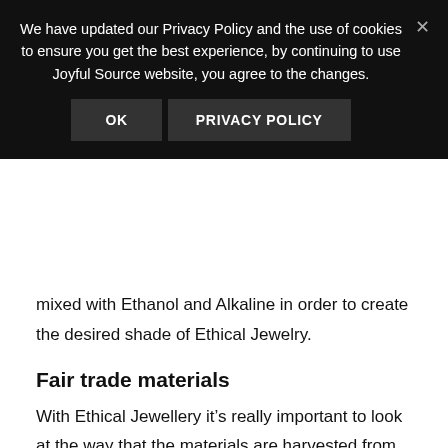We have updated our Privacy Policy and the use of cookies to ensure you get the best experience, by continuing to use Joyful Source website, you agree to the changes.
OK | PRIVACY POLICY
mixed with Ethanol and Alkaline in order to create the desired shade of Ethical Jewelry.
Fair trade materials
With Ethical Jewellery it’s really important to look at the way that the materials are harvested from the land. Some countries have a lot of land that has been used for years to produce jewellery which is now exported around the world. This has had a negative impact on local wildlife and the local economy which is why many